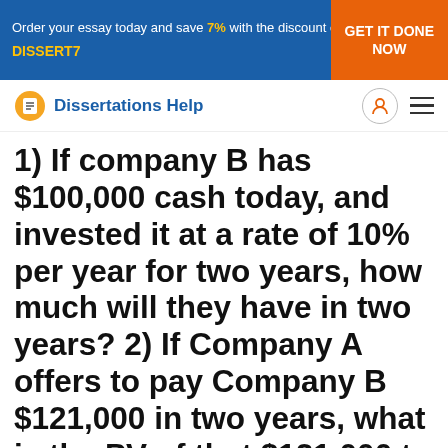Order your essay today and save 7% with the discount code DISSERT7 | GET IT DONE NOW
[Figure (logo): Dissertations Help logo with icon and navigation icons]
1) If company B has $100,000 cash today, and invested it at a rate of 10% per year for two years, how much will they have in two years? 2) If Company A offers to pay Company B $121,000 in two years, what is the PV of that $121,000 to